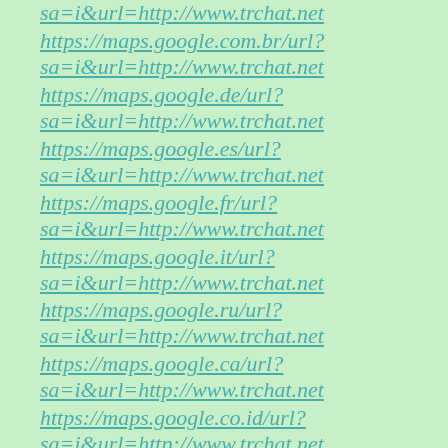sa=i&url=http://www.trchat.net
https://maps.google.com.br/url?sa=i&url=http://www.trchat.net
https://maps.google.de/url?sa=i&url=http://www.trchat.net
https://maps.google.es/url?sa=i&url=http://www.trchat.net
https://maps.google.fr/url?sa=i&url=http://www.trchat.net
https://maps.google.it/url?sa=i&url=http://www.trchat.net
https://maps.google.ru/url?sa=i&url=http://www.trchat.net
https://maps.google.ca/url?sa=i&url=http://www.trchat.net
https://maps.google.co.id/url?sa=i&url=http://www.trchat.net
https://maps.google.co.in/url?sa=i&url=http://www.trchat.net